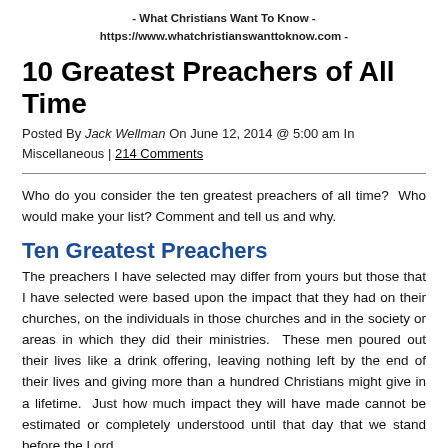- What Christians Want To Know -
https://www.whatchristianswanttoknow.com -
10 Greatest Preachers of All Time
Posted By Jack Wellman On June 12, 2014 @ 5:00 am In Miscellaneous | 214 Comments
Who do you consider the ten greatest preachers of all time? Who would make your list? Comment and tell us and why.
Ten Greatest Preachers
The preachers I have selected may differ from yours but those that I have selected were based upon the impact that they had on their churches, on the individuals in those churches and in the society or areas in which they did their ministries. These men poured out their lives like a drink offering, leaving nothing left by the end of their lives and giving more than a hundred Christians might give in a lifetime. Just how much impact they will have made cannot be estimated or completely understood until that day that we stand before the Lord